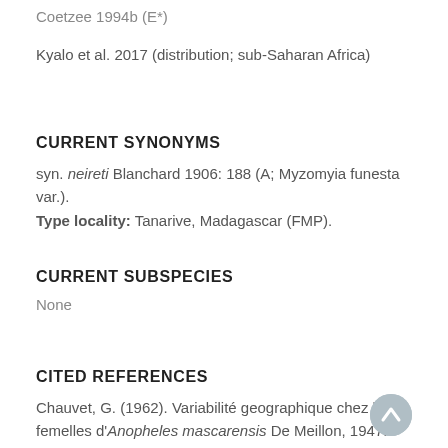Coetzee 1994b (E*)
Kyalo et al. 2017 (distribution; sub-Saharan Africa)
CURRENT SYNONYMS
syn. neireti Blanchard 1906: 188 (A; Myzomyia funesta var.). Type locality: Tanarive, Madagascar (FMP).
CURRENT SUBSPECIES
None
CITED REFERENCES
Chauvet, G. (1962). Variabilité geographique chez les femelles d'Anopheles mascarensis De Meillon, 1947. Absence